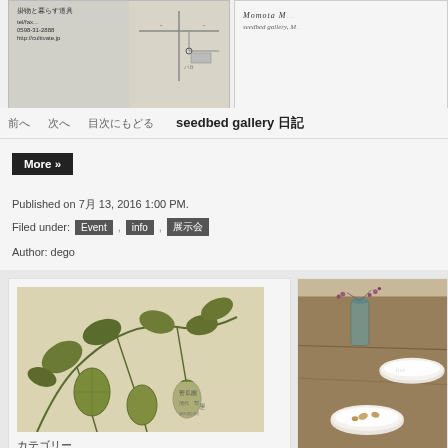[Figure (photo): Top left image showing a partial map with address and contact info: tel/fax, 0598-31-2888, http://cultivate.jp]
[Figure (photo): Top right partial image showing text: Momota M... seedbed gallery, M...]
（前へ） （次へ） （目次にもどる） seedbed gallery 日記
More »
Published on 7月 13, 2016 1:00 PM.
Filed under: Event , info , 展示会
Author: dego
[Figure (photo): Botanical illustration showing green melon or cucumber fruits hanging on vines with Japanese calligraphy text at bottom right]
カテゴリー
展示会のお知らせです。マルシェについて
[Figure (photo): Right card showing food photography with small berries in a glass vase, bowls of rice and other food on a wooden table]